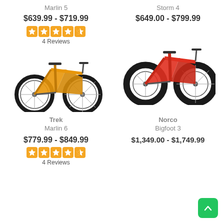Marlin 5
$639.99 - $719.99
4 Reviews
Storm 4
$649.00 - $799.99
[Figure (photo): Yellow/orange Trek Marlin 5 mountain bike, side view]
[Figure (photo): Red Norco Storm 4 fat tire mountain bike, side view]
Trek
Marlin 6
$779.99 - $849.99
4 Reviews
Norco
Bigfoot 3
$1,349.00 - $1,749.99